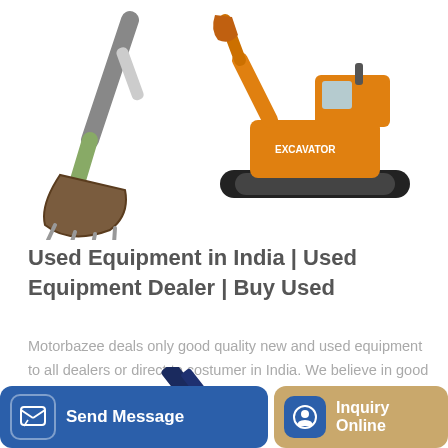[Figure (photo): Excavator bucket and full excavator images at top of page]
Used Equipment in India | Used Equipment Dealer | Buy Used
Motorbazee deals only good quality new and used equipment to all dealers or direct to costumer in India. We believe in good quality and good equipment. Chennai /...
Learn More
[Figure (photo): Hyundai crane/equipment image partially visible at bottom]
Send Message
Inquiry Online